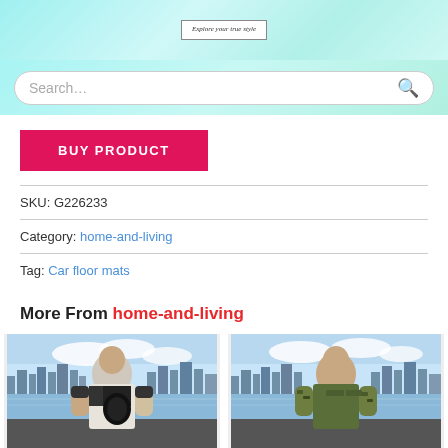[Figure (screenshot): Website header banner with logo box reading 'Explore your true style' on a light teal/cyan gradient background]
[Figure (screenshot): Search bar with placeholder text 'Search...' and a search icon on the right, on teal gradient background]
BUY PRODUCT
SKU: G226233
Category: home-and-living
Tag: Car floor mats
More From home-and-living
[Figure (photo): Man wearing a graphic t-shirt with Punisher skull design, city skyline and water in background]
[Figure (photo): Man wearing an olive green military-style t-shirt, city skyline and water in background]